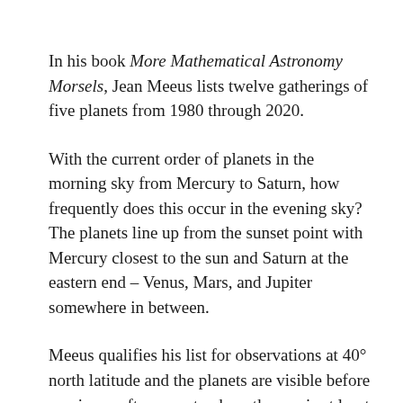In his book More Mathematical Astronomy Morsels, Jean Meeus lists twelve gatherings of five planets from 1980 through 2020.
With the current order of planets in the morning sky from Mercury to Saturn, how frequently does this occur in the evening sky?  The planets line up from the sunset point with Mercury closest to the sun and Saturn at the eastern end – Venus, Mars, and Jupiter somewhere in between.
Meeus qualifies his list for observations at 40° north latitude and the planets are visible before sunrise or after sunset, where the sun is at least 5° below the horizon and Mercury and Saturn are at least 5° up in